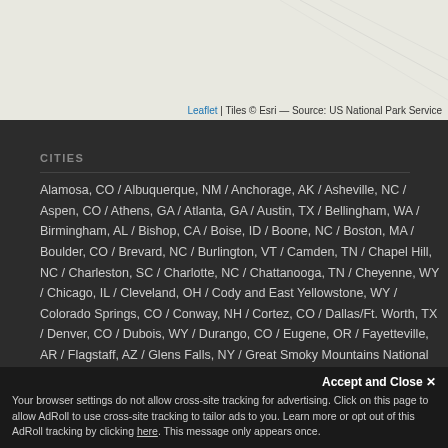[Figure (map): Map background with light beige/gray tones and subtle road lines]
Leaflet | Tiles © Esri — Source: US National Park Service
CITIES
Alamosa, CO / Albuquerque, NM / Anchorage, AK / Asheville, NC / Aspen, CO / Athens, GA / Atlanta, GA / Austin, TX / Bellingham, WA / Birmingham, AL / Bishop, CA / Boise, ID / Boone, NC / Boston, MA / Boulder, CO / Brevard, NC / Burlington, VT / Camden, TN / Chapel Hill, NC / Charleston, SC / Charlotte, NC / Chattanooga, TN / Cheyenne, WY / Chicago, IL / Cleveland, OH / Cody and East Yellowstone, WY / Colorado Springs, CO / Conway, NH / Cortez, CO / Dallas/Ft. Worth, TX / Denver, CO / Dubois, WY / Durango, CO / Eugene, OR / Fayetteville, AR / Flagstaff, AZ / Glens Falls, NY / Great Smoky Mountains National Park, TN / Greensboro, NC / Greenville, NC / Gulf Shores, AL / Hilton Head, SC / Huntsville, AL / Hurricane Mills, TN / Jackson Hole, WY / Jacksonville, FL / Knoxville, TN / Lafayette, LA / Lake Tahoe, CA / Lander, WY / Las Vegas, NV / Lewisburg, PA / Lexington, KY / Los Angeles, CA / Madison, WI / Memphis, TN / Miami,
Accept and Close ✕
Your browser settings do not allow cross-site tracking for advertising. Click on this page to allow AdRoll to use cross-site tracking to tailor ads to you. Learn more or opt out of this AdRoll tracking by clicking here. This message only appears once.